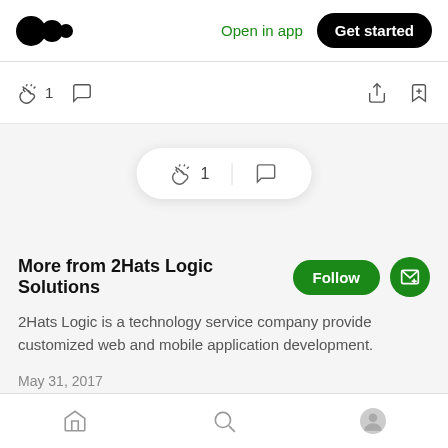Medium logo | Open in app | Get started
[Figure (screenshot): Action bar with clap icon (1), comment icon, share icon, and bookmark icon]
[Figure (screenshot): Floating reaction bar with clap icon (1) and comment icon]
More from 2Hats Logic Solutions
2Hats Logic is a technology service company provide customized web and mobile application development.
May 31, 2017
7 Simple Step for optimizing your Magento
Home | Search | Profile